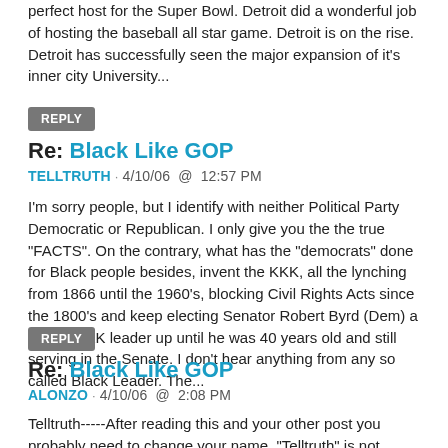perfect host for the Super Bowl. Detroit did a wonderful job of hosting the baseball all star game. Detroit is on the rise. Detroit has successfully seen the major expansion of it's inner city University...
REPLY
Re: Black Like GOP
TELLTRUTH · 4/10/06  @  12:57 PM
I'm sorry people, but I identify with neither Political Party Democratic or Republican. I only give you the the true "FACTS". On the contrary, what has the "democrats" done for Black people besides, invent the KKK, all the lynching from 1866 until the 1960's, blocking Civil Rights Acts since the 1800's and keep electing Senator Robert Byrd (Dem) a known KKK leader up until he was 40 years old and still serving in the Senate. I don't hear anything from any so called Black Leader. The...
REPLY
Re: Black Like GOP
ALONZO · 4/10/06  @  2:08 PM
Telltruth-----After reading this and your other post you probably need to change your name. "Telltruth" is not working for you anymore. You may not be a member of either party but your opinions are surely slanted to